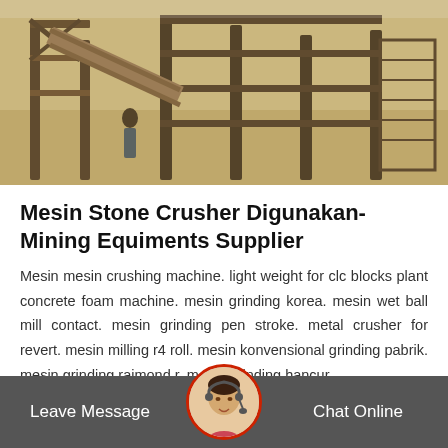[Figure (photo): Industrial mining or stone crushing facility with wooden and metal structures, conveyor belts, and workers visible in an outdoor setting with dusty sandy ground.]
Mesin Stone Crusher Digunakan-Mining Equiments Supplier
Mesin mesin crushing machine. light weight for clc blocks plant concrete foam machine. mesin grinding korea. mesin wet ball mill contact. mesin grinding pen stroke. metal crusher for revert. mesin milling r4 roll. mesin konvensional grinding pabrik. mesin grinding raimond r. mesin grinding hancur.
Get Price ×
[Figure (photo): Customer service representative avatar photo showing a woman with headset, circular crop with red border.]
Leave Message   Chat Online